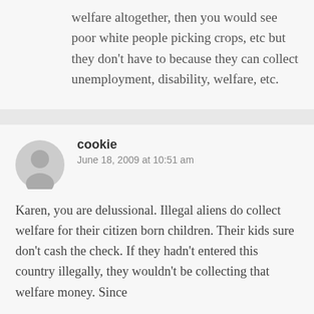welfare altogether, then you would see poor white people picking crops, etc but they don't have to because they can collect unemployment, disability, welfare, etc.
cookie
June 18, 2009 at 10:51 am
Karen, you are delussional. Illegal aliens do collect welfare for their citizen born children. Their kids sure don't cash the check. If they hadn't entered this country illegally, they wouldn't be collecting that welfare money. Since